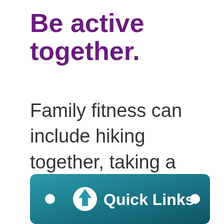Be active together.
Family fitness can include hiking together, taking a stroll through the neighborhood after dinner, or playing a
[Figure (infographic): Teal/dark teal gradient bar at bottom with two white dots on either side, a white circle arrow-up icon, and bold white text reading 'Quick Links']